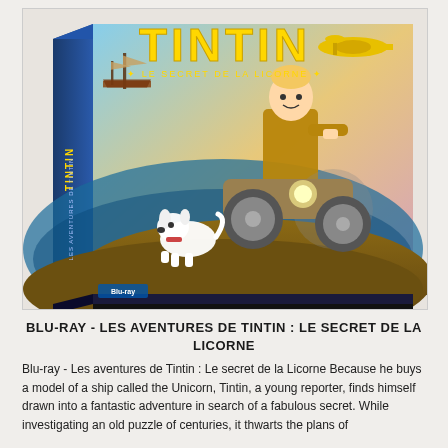[Figure (photo): Blu-ray DVD box cover of Les Aventures de Tintin: Le Secret de la Licorne. The cover shows Tintin on a motorcycle with his white dog Milou running alongside, a sailing ship and a yellow airplane in background. Large yellow TINTIN text at top.]
BLU-RAY - LES AVENTURES DE TINTIN : LE SECRET DE LA LICORNE
Blu-ray - Les aventures de Tintin : Le secret de la Licorne Because he buys a model of a ship called the Unicorn, Tintin, a young reporter, finds himself drawn into a fantastic adventure in search of a fabulous secret. While investigating an old puzzle of centuries, it thwarts the plans of